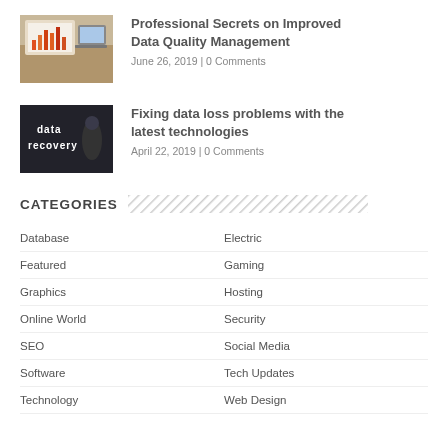[Figure (photo): Photo of charts and laptop on desk]
Professional Secrets on Improved Data Quality Management
June 26, 2019 | 0 Comments
[Figure (photo): Dark image with text 'data recovery' and person in background]
Fixing data loss problems with the latest technologies
April 22, 2019 | 0 Comments
CATEGORIES
Database
Electric
Featured
Gaming
Graphics
Hosting
Online World
Security
SEO
Social Media
Software
Tech Updates
Technology
Web Design